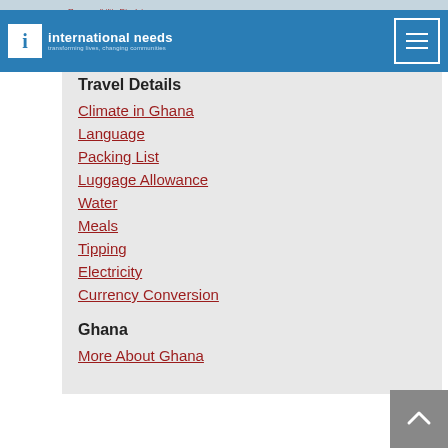international needs - transforming lives, changing communities
Travel Details
Climate in Ghana
Language
Packing List
Luggage Allowance
Water
Meals
Tipping
Electricity
Currency Conversion
Ghana
More About Ghana